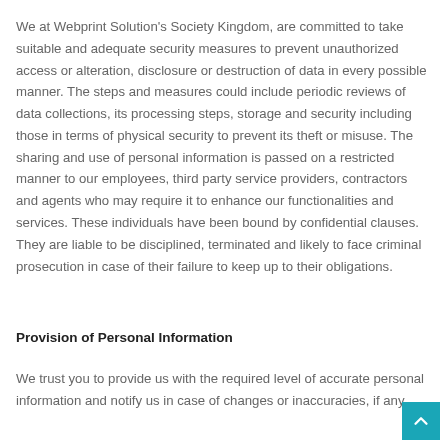We at Webprint Solution's Society Kingdom, are committed to take suitable and adequate security measures to prevent unauthorized access or alteration, disclosure or destruction of data in every possible manner. The steps and measures could include periodic reviews of data collections, its processing steps, storage and security including those in terms of physical security to prevent its theft or misuse. The sharing and use of personal information is passed on a restricted manner to our employees, third party service providers, contractors and agents who may require it to enhance our functionalities and services. These individuals have been bound by confidential clauses. They are liable to be disciplined, terminated and likely to face criminal prosecution in case of their failure to keep up to their obligations.
Provision of Personal Information
We trust you to provide us with the required level of accurate personal information and notify us in case of changes or inaccuracies, if any.